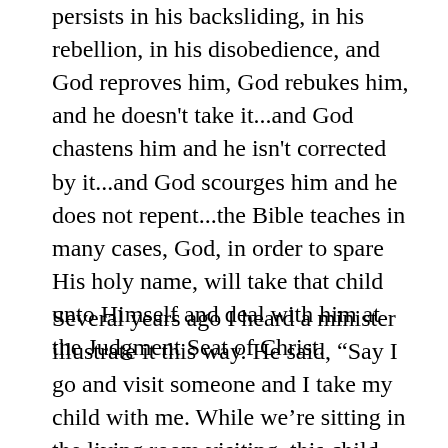persists in his backsliding, in his rebellion, in his disobedience, and God reproves him, God rebukes him, and he doesn't take it...and God chastens him and he isn't corrected by it...and God scourges him and he does not repent...the Bible teaches in many cases, God, in order to spare His holy name, will take that child unto Himself and deal with him at the Judgment Seat of Christ.
Several years ago I heard a minister illustrate it this way. He said, “Say I go and visit someone and I take my child with me. While we’re sitting in the living room visiting, this child begins to climb on the coffee table and knock over a lamp, get crayons and color on the wall and I